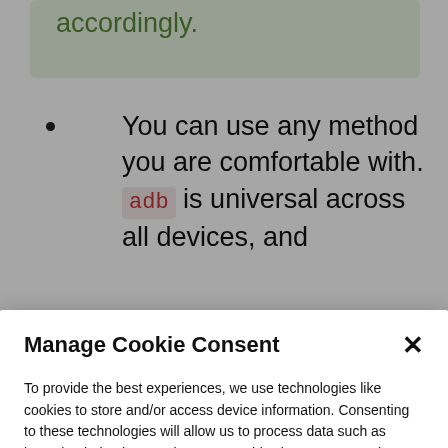accordingly.
You can use any method you are comfortable with. adb is universal across all devices, and
Manage Cookie Consent
To provide the best experiences, we use technologies like cookies to store and/or access device information. Consenting to these technologies will allow us to process data such as browsing behavior or unique IDs on this site. Not consenting or withdrawing consent, may adversely affect certain features and functions.
Accept
Deny
Cookie Policy   Privacy Policy